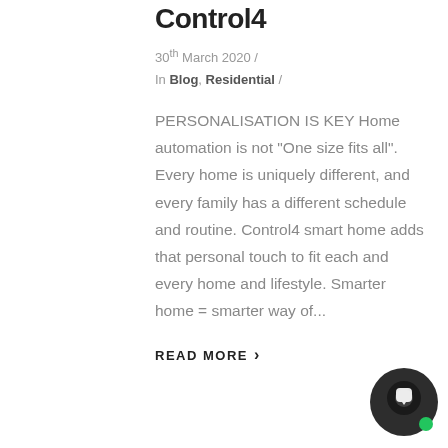Control4
30th March 2020 /
In Blog, Residential /
PERSONALISATION IS KEY Home automation is not "One size fits all". Every home is uniquely different, and every family has a different schedule and routine. Control4 smart home adds that personal touch to fit each and every home and lifestyle. Smarter home = smarter way of...
READ MORE >